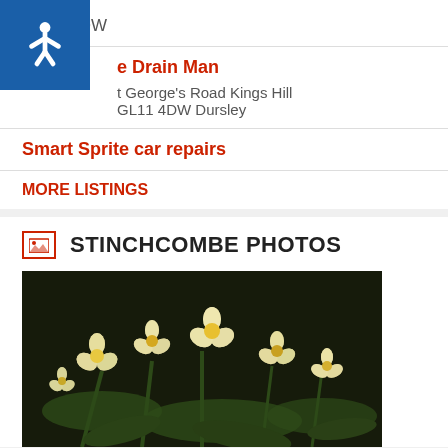GL14 1QW
e Drain Man
t George's Road Kings Hill
GL11 4DW Dursley
Smart Sprite car repairs
MORE LISTINGS
STINCHCOMBE PHOTOS
[Figure (photo): Close-up photograph of pale yellow/cream primrose flowers with green leaves against a dark background]